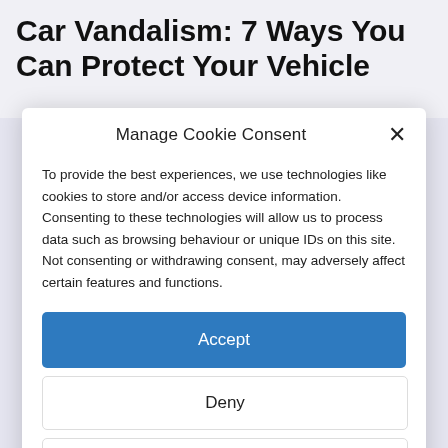Car Vandalism: 7 Ways You Can Protect Your Vehicle
Manage Cookie Consent
To provide the best experiences, we use technologies like cookies to store and/or access device information. Consenting to these technologies will allow us to process data such as browsing behaviour or unique IDs on this site. Not consenting or withdrawing consent, may adversely affect certain features and functions.
Accept
Deny
View preferences
Cookie Policy   Privacy Policy